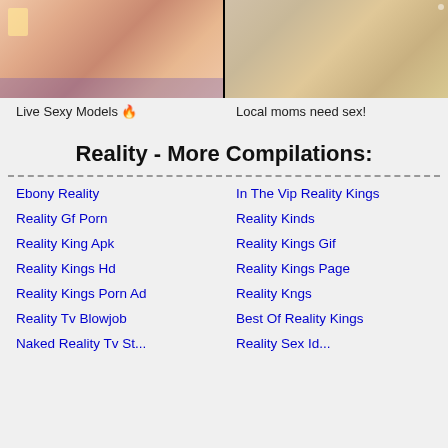[Figure (photo): Two thumbnail images side by side: left shows a tattooed woman, right shows a blonde woman]
Live Sexy Models 🔥
Local moms need sex!
Reality - More Compilations:
Ebony Reality
In The Vip Reality Kings
Reality Gf Porn
Reality Kinds
Reality King Apk
Reality Kings Gif
Reality Kings Hd
Reality Kings Page
Reality Kings Porn Ad
Reality Kngs
Reality Tv Blowjob
Best Of Reality Kings